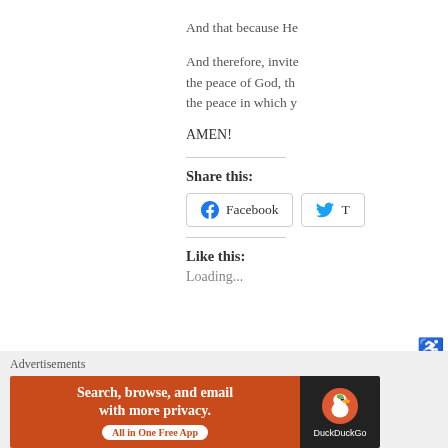And that because He
And therefore, invite the peace of God, th the peace in which y
AMEN!
Share this:
Facebook
T
Like this:
Loading...
Advertisements
[Figure (screenshot): DuckDuckGo advertisement banner with orange left section reading 'Search, browse, and email with more privacy. All in One Free App' and dark right section with DuckDuckGo duck logo and name.]